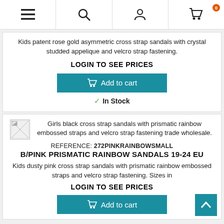Navigation header with menu, search, account, and cart (0 items) icons
Kids patent rose gold asymmetric cross strap sandals with crystal studded appelique and velcro strap fastening.
LOGIN TO SEE PRICES
Add to cart
In Stock
[Figure (photo): Small broken/placeholder product thumbnail image]
Girls black cross strap sandals with prismatic rainbow embossed straps and velcro strap fastening trade wholesale.
REFERENCE: 272PINKRAINBOWSMALL
B/PINK PRISMATIC RAINBOW SANDALS 19-24 EU
Kids dusty pink cross strap sandals with prismatic rainbow embossed straps and velcro strap fastening. Sizes in
LOGIN TO SEE PRICES
Add to cart